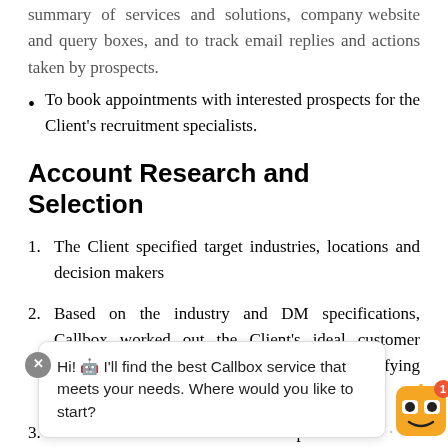summary of services and solutions, company website and query boxes, and to track email replies and actions taken by prospects.
To book appointments with interested prospects for the Client's recruitment specialists.
Account Research and Selection
1. The Client specified target industries, locations and decision makers
2. Based on the industry and DM specifications, Callbox worked out the Client's ideal customer profile (ICP) which served as a basis for identifying qualified accounts
3. A list of ... as then compiled ... viewed and app...
[Figure (other): Chat popup overlay with robot icon, close button (X), notification badge (1), and message: Hi! I'll find the best Callbox service that meets your needs. Where would you like to start?]